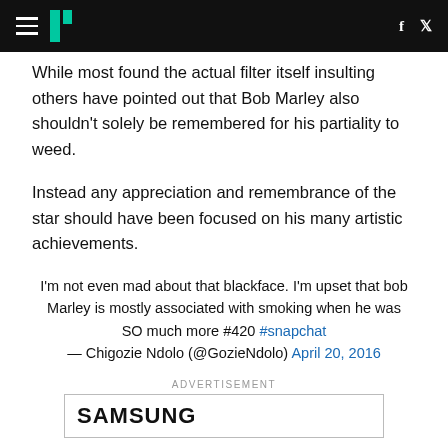HuffPost navigation header with hamburger menu, logo, Facebook and Twitter icons
While most found the actual filter itself insulting others have pointed out that Bob Marley also shouldn't solely be remembered for his partiality to weed.
Instead any appreciation and remembrance of the star should have been focused on his many artistic achievements.
I'm not even mad about that blackface. I'm upset that bob Marley is mostly associated with smoking when he was SO much more #420 #snapchat — Chigozie Ndolo (@GozieNdolo) April 20, 2016
ADVERTISEMENT
SAMSUNG